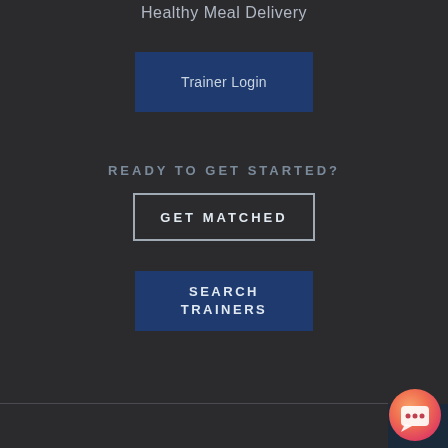Healthy Meal Delivery
[Figure (screenshot): Trainer Login button - dark blue rectangular button]
READY TO GET STARTED?
[Figure (screenshot): GET MATCHED button - outlined/bordered rectangular button]
[Figure (screenshot): SEARCH TRAINERS button - dark blue rectangular button]
[Figure (illustration): Chat bubble icon - orange/pink gradient circular button with chat icon in bottom right corner]